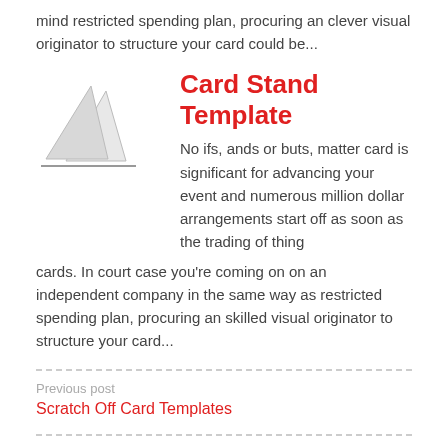mind restricted spending plan, procuring an clever visual originator to structure your card could be...
[Figure (illustration): Two white card stands on a surface with a line underneath]
Card Stand Template
No ifs, ands or buts, matter card is significant for advancing your event and numerous million dollar arrangements start off as soon as the trading of thing cards. In court case you're coming on on an independent company in the same way as restricted spending plan, procuring an skilled visual originator to structure your card...
Previous post
Scratch Off Card Templates
Search …
Recent Posts